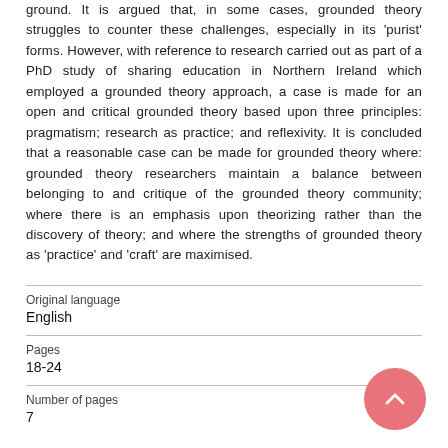ground. It is argued that, in some cases, grounded theory struggles to counter these challenges, especially in its 'purist' forms. However, with reference to research carried out as part of a PhD study of sharing education in Northern Ireland which employed a grounded theory approach, a case is made for an open and critical grounded theory based upon three principles: pragmatism; research as practice; and reflexivity. It is concluded that a reasonable case can be made for grounded theory where: grounded theory researchers maintain a balance between belonging to and critique of the grounded theory community; where there is an emphasis upon theorizing rather than the discovery of theory; and where the strengths of grounded theory as 'practice' and 'craft' are maximised.
| Field | Value |
| --- | --- |
| Original language | English |
| Pages | 18-24 |
| Number of pages | 7 |